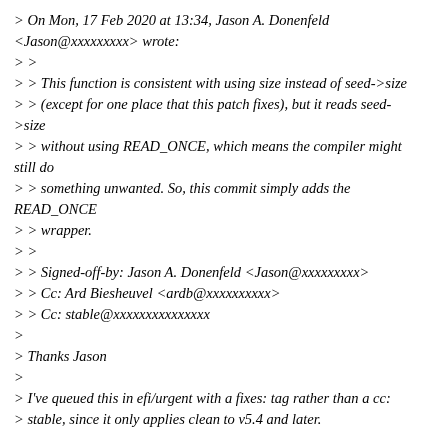> On Mon, 17 Feb 2020 at 13:34, Jason A. Donenfeld <Jason@xxxxxxxxx> wrote:
> >
> > This function is consistent with using size instead of seed->size (except for one place that this patch fixes), but it reads seed->size
> > without using READ_ONCE, which means the compiler might still do
> > something unwanted. So, this commit simply adds the READ_ONCE
> > wrapper.
> >
> > Signed-off-by: Jason A. Donenfeld <Jason@xxxxxxxxx>
> > Cc: Ard Biesheuvel <ardb@xxxxxxxxxx>
> > Cc: stable@xxxxxxxxxxxxxxx
>
> Thanks Jason
>
> I've queued this in efi/urgent with a fixes: tag rather than a cc:
> stable, since it only applies clean to v5.4 and later.
Why do that? That just makes it harder for me to know to pick it up for
5.4 and newer.